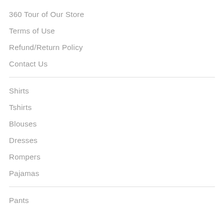360 Tour of Our Store
Terms of Use
Refund/Return Policy
Contact Us
Shirts
Tshirts
Blouses
Dresses
Rompers
Pajamas
Pants